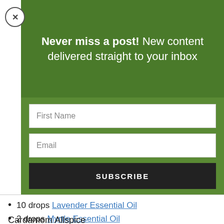Never miss a post! New content delivered straight to your inbox
[Figure (screenshot): Email subscription form with First Name and Email input fields and a SUBSCRIBE button on a green background]
10 drops Lavender Essential Oil
2 drops Myrtle Essential Oil
1 drop Carrot Seed Oil
Cardamom Allspice